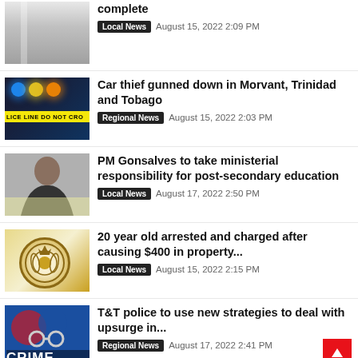[Figure (photo): Hospital corridor interior, greyscale/muted tones]
complete
Local News   August 15, 2022 2:09 PM
[Figure (photo): Police crime scene tape with blue and yellow lights in background, POLICE LINE DO NOT CROSS]
Car thief gunned down in Morvant, Trinidad and Tobago
Regional News   August 15, 2022 2:03 PM
[Figure (photo): Portrait of PM Gonsalves smiling, wearing a suit]
PM Gonsalves to take ministerial responsibility for post-secondary education
Local News   August 17, 2022 2:50 PM
[Figure (logo): Police force badge/crest on gold and white background]
20 year old arrested and charged after causing $400 in property...
Local News   August 15, 2022 2:15 PM
[Figure (photo): Handcuffs on blue background with CRIME text overlay]
T&T police to use new strategies to deal with upsurge in...
Regional News   August 17, 2022 2:41 PM